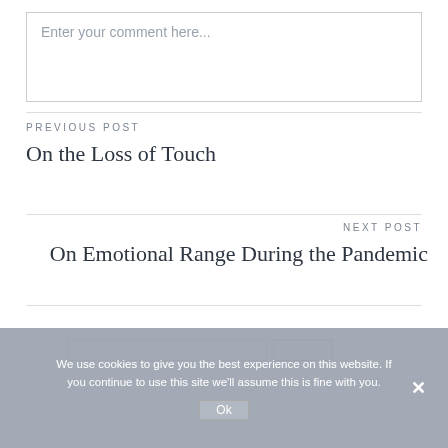Enter your comment here...
PREVIOUS POST
On the Loss of Touch
NEXT POST
On Emotional Range During the Pandemic
[Figure (screenshot): A website UI section with comment input box, previous/next post navigation links, a search widget area, and a cookie consent banner overlay reading 'We use cookies to give you the best experience on this website. If you continue to use this site we'll assume this is fine with you.' with an Ok button and close X.]
We use cookies to give you the best experience on this website. If you continue to use this site we'll assume this is fine with you.
Ok